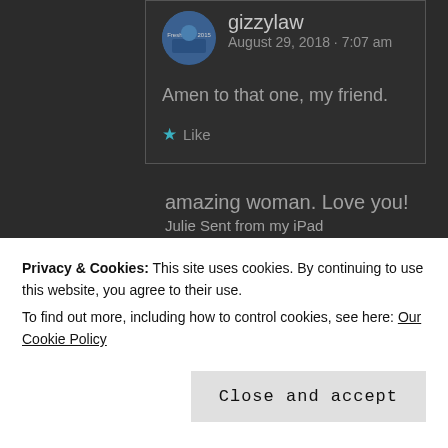gizzylaw
August 29, 2018 · 7:07 am
Amen to that one, my friend.
Like
Julie O'Brien
August 29, 2018 · 8:04
Privacy & Cookies: This site uses cookies. By continuing to use this website, you agree to their use.
To find out more, including how to control cookies, see here: Our Cookie Policy
Close and accept
amazing woman. Love you!
Julie Sent from my iPad